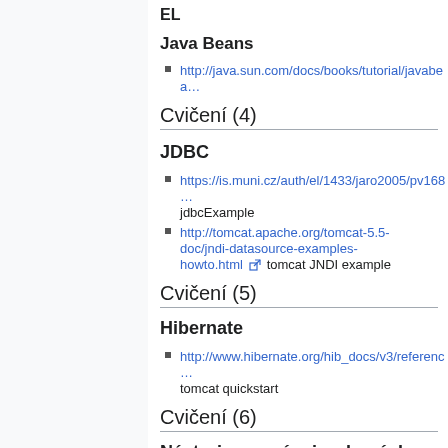EL
Java Beans
http://java.sun.com/docs/books/tutorial/javabea…
Cvičení (4)
JDBC
https://is.muni.cz/auth/el/1433/jaro2005/pv168… jdbcExample
http://tomcat.apache.org/tomcat-5.5-doc/jndi-datasource-examples-howto.html tomcat JNDI example
Cvičení (5)
Hibernate
http://www.hibernate.org/hib_docs/v3/referenc… tomcat quickstart
Cvičení (6)
Nástroje pro vývoj webových